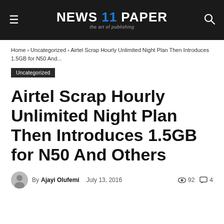NEWS 11 PAPER — the art of publishing
Home › Uncategorized › Airtel Scrap Hourly Unlimited Night Plan Then Introduces 1.5GB for N50 And...
Uncategorized
Airtel Scrap Hourly Unlimited Night Plan Then Introduces 1.5GB for N50 And Others
By Ajayi Olufemi   July 13, 2016   92 views   4 comments